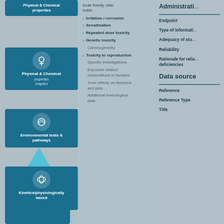Physical & Chemical properties
Acute Toxicity: other routes
Irritation / corrosion
Sensitisation
Repeated dose toxicity
Genetic toxicity
Carcinogenicity
Toxicity to reproduction
Specific investigations
Exposure related observations in humans
Toxic effects on livestock and pets
Additional toxicological data
Administrative
Endpoint
Type of information
Adequacy of study
Reliability
Rationale for reliability deficiencies
Data source
Reference
Reference Type
Title
Toxicological information
Environmental tests & pathways
Kinetics/physiologically based pharmacokinetics